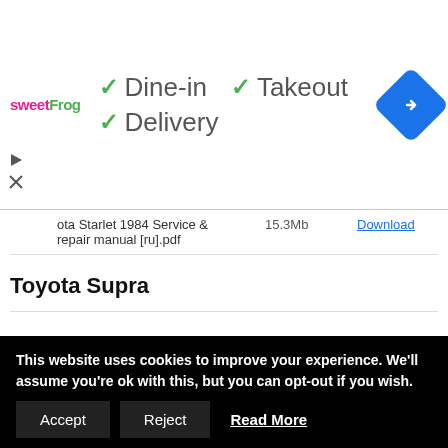[Figure (screenshot): Ad banner with sweetFrog logo, checkmarks for Dine-in, Takeout, Delivery, and a blue navigation icon on the right]
| File | Size | Link |
| --- | --- | --- |
| ota Starlet 1984 Service & repair manual [ru].pdf | 15.3Mb | Download |
Toyota Supra
| File | Size | Link |
| --- | --- | --- |
| Toyota Supra 1986-1993 workshop manual + wiring diagrams [en].rar | 173.8Mb | Download |
| Toyota Supra 1995-1997 Repair Manual [en].rar | 126.2Mb | Download |
This website uses cookies to improve your experience. We'll assume you're ok with this, but you can opt-out if you wish.